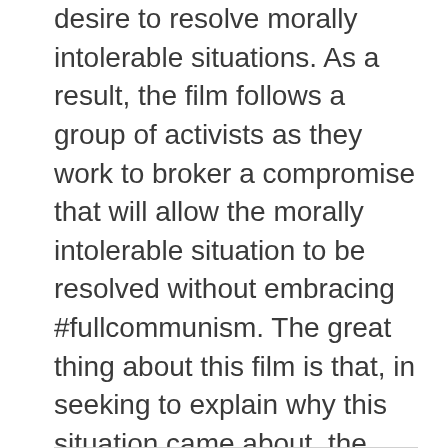desire to resolve morally intolerable situations. As a result, the film follows a group of activists as they work to broker a compromise that will allow the morally intolerable situation to be resolved without embracing #fullcommunism. The great thing about this film is that, in seeking to explain why this situation came about, the filmmakers manage to educate their audience while never losing sight of principle. It turns out that the real problem with AIDS in the developing world is not patent law but the obvious corruption and cowardice of Western governments.
Turns out some complex truths are morally simple after all…